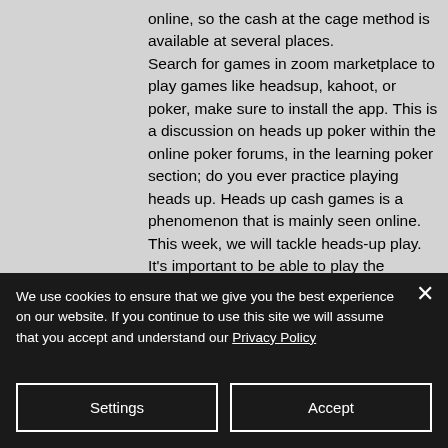online, so the cash at the cage method is available at several places. Search for games in zoom marketplace to play games like headsup, kahoot, or poker, make sure to install the app. This is a discussion on heads up poker within the online poker forums, in the learning poker section; do you ever practice playing heads up. Heads up cash games is a phenomenon that is mainly seen online. This week, we will tackle heads-up play. It's important to be able to play the endgame effectively in sngs. When playing poker online in a. Heads-up hold'em™ combines traditional texas
We use cookies to ensure that we give you the best experience on our website. If you continue to use this site we will assume that you accept and understand our Privacy Policy
Settings
Accept